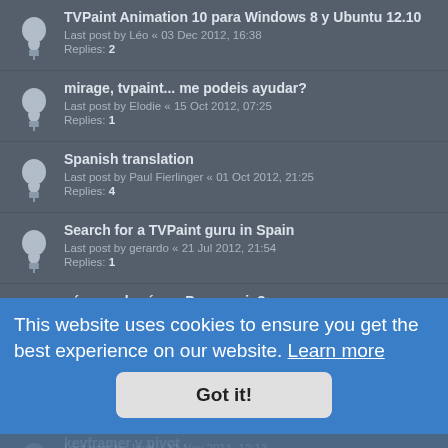TVPaint Animation 10 para Windows 8 y Ubuntu 12.10
Last post by Léo « 03 Dec 2012, 16:38
Replies: 2
mirage, tvpaint... me podeis ayudar?
Last post by Elodie « 15 Oct 2012, 07:25
Replies: 1
Spanish translation
Last post by Paul Fierlinger « 01 Oct 2012, 21:25
Replies: 4
Search for a TVPaint guru in Spain
Last post by gerardo « 21 Jul 2012, 21:54
Replies: 1
cómo se hacía un Panoramic?
Last post by Elodie « 06 Mar 2012, 13:32
Replies: 1
concurso internacional de video musical animado
Last post by concoursAnnecyOff « 19 Jan 2012, 12:34
keyframer y pivot
Last post by Elodie « 01 Dec 2011, 07:28
Last post by Jordi « 11 Nov 2011, 12:13
Replies: 3
cambiar color de
Last post by Fabrice « 11 Oct 2011, 13:24
Replies: 3
Hacer una máscara
This website uses cookies to ensure you get the best experience on our website. Learn more
Got it!